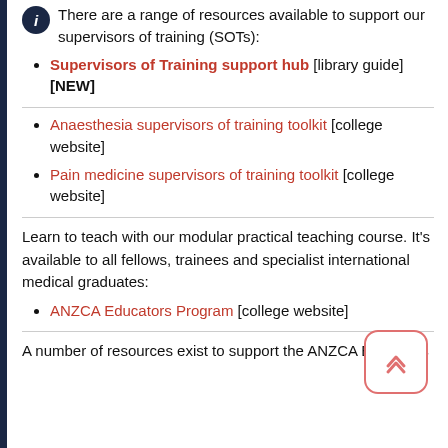There are a range of resources available to support our supervisors of training (SOTs):
Supervisors of Training support hub [library guide] [NEW]
Anaesthesia supervisors of training toolkit [college website]
Pain medicine supervisors of training toolkit [college website]
Learn to teach with our modular practical teaching course. It's available to all fellows, trainees and specialist international medical graduates:
ANZCA Educators Program [college website]
A number of resources exist to support the ANZCA Educators